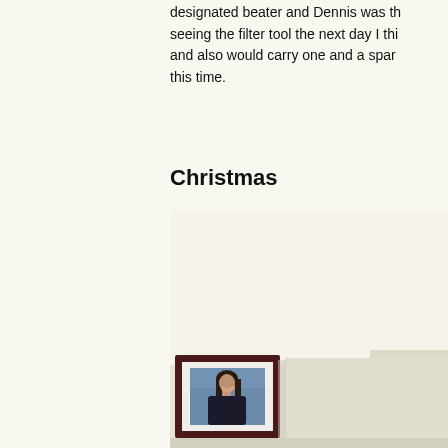designated beater and Dennis was th... seeing the filter tool the next day I thi... and also would carry one and a spar... this time.
Christmas
[Figure (photo): A framed portrait photo of a woman with dark hair hanging on a light-colored wall. The frame is dark wood/burgundy. The photo is partially visible, showing the upper portion of the frame against a beige/cream wall. The right portion shows an interior room corner.]